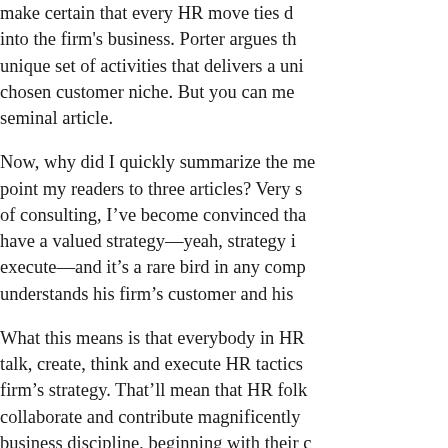make certain that every HR move ties directly into the firm's business. Porter argues that a unique set of activities that delivers a unique value to a chosen customer niche. But you can me... seminal article.
Now, why did I quickly summarize the me... point my readers to three articles? Very s... of consulting, I've become convinced tha... have a valued strategy—yeah, strategy i... execute—and it's a rare bird in any comp... understands his firm's customer and his...
What this means is that everybody in HR... talk, create, think and execute HR tactics... firm's strategy. That'll mean that HR folk... collaborate and contribute magnificently... business discipline, beginning with their c... needs, desperately, is example after exa... where his readers are shown exactly how... directly into the firm's strategy. Ulrich and... know enough about adult learning to rea... examples ain't enough—and that the str... need to be drummed into every HR read... five competencies should all be subsum...